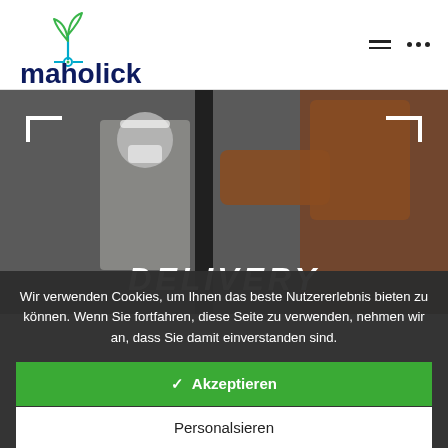[Figure (logo): Maholick logo with green plant/circuit icon above text 'maholick' in dark navy blue bold font]
[Figure (photo): Hero image showing a delivery person wearing a mask and orange/brown outfit, partially visible. Text overlay reads 'DELIVERY' in large italic white letters. Corner bracket decorations in white at top-left and top-right.]
Wir verwenden Cookies, um Ihnen das beste Nutzererlebnis bieten zu können. Wenn Sie fortfahren, diese Seite zu verwenden, nehmen wir an, dass Sie damit einverstanden sind.
✓  Akzeptieren
Personalsieren